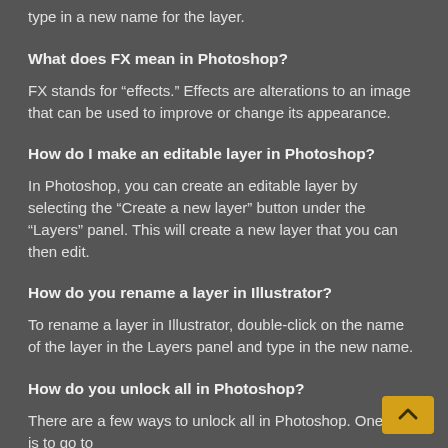type in a new name for the layer.
What does FX mean in Photoshop?
FX stands for “effects.” Effects are alterations to an image that can be used to improve or change its appearance.
How do I make an editable layer in Photoshop?
In Photoshop, you can create an editable layer by selecting the “Create a new layer” button under the “Layers” panel. This will create a new layer that you can then edit.
How do you rename a layer in Illustrator?
To rename a layer in Illustrator, double-click on the name of the layer in the Layers panel and type in the new name.
How do you unlock all in Photoshop?
There are a few ways to unlock all in Photoshop. One way is to go to